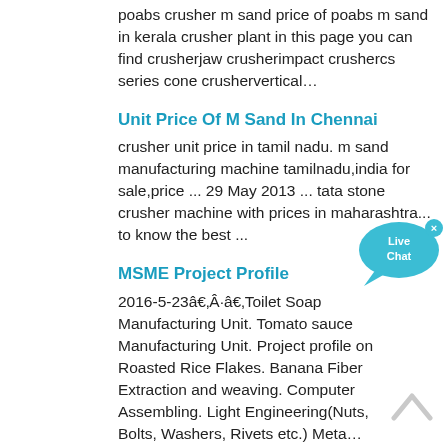poabs crusher m sand price of poabs m sand in kerala crusher plant in this page you can find crusherjaw crusherimpact crushercs series cone crushervertical…
Unit Price Of M Sand In Chennai
crusher unit price in tamil nadu. m sand manufacturing machine tamilnadu,india for sale,price ... 29 May 2013 ... tata stone crusher machine with prices in maharashtra... to know the best ...
MSME Project Profile
2016-5-23â€‚Â·â€‚Toilet Soap Manufacturing Unit. Tomato sauce Manufacturing Unit. Project profile on Roasted Rice Flakes. Banana Fiber Extraction and weaving. Computer Assembling. Light Engineering(Nuts, Bolts, Washers, Rivets etc.) Meta…
[Figure (illustration): Live Chat button - teal speech bubble with 'Live Chat' text and an X close button]
Sand Crusher Plant
Approx. Rs 20 Lakh / Unit(s) Get Latest Price Our organization is highly efficient in bringing forth an astonishing range of M Sand OR Automatic VSI Vertical Shaft Impactor Plant . These products are manufactured by using high quality components un…
[Figure (illustration): Scroll to top arrow icon, grey upward chevron]
Manufactured Sand, Manufacturer, Supplier ...